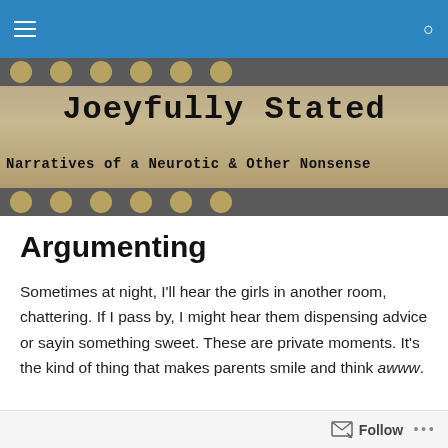Navigation bar with hamburger menu and search icon
[Figure (illustration): Blog header banner with decorative dot rows, showing site title 'Joeyfully Stated' and subtitle 'Narratives of a Neurotic & Other Nonsense' in typewriter-style font on a tan/beige background]
Argumenting
Sometimes at night, I'll hear the girls in another room, chattering. If I pass by, I might hear them dispensing advice or sayin something sweet. These are private moments. It's the kind of thing that makes parents smile and think awww.
Follow  •••